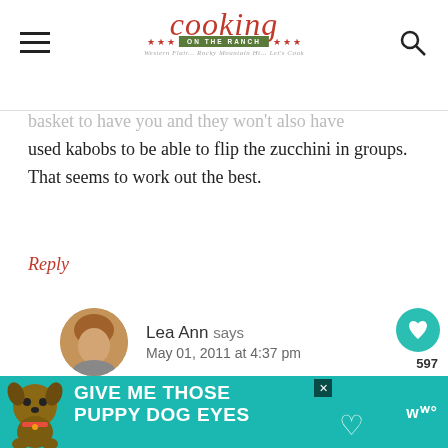Cooking on the Ranch — Western Flair... Rocky Mountain Hi... Let's Cook
used kabobs to be able to flip the zucchini in groups. That seems to work out the best.
Reply
Lea Ann says
May 01, 2011 at 4:37 pm
Well shoot, that makes sense. I did love that basket, so will probably live without the grill